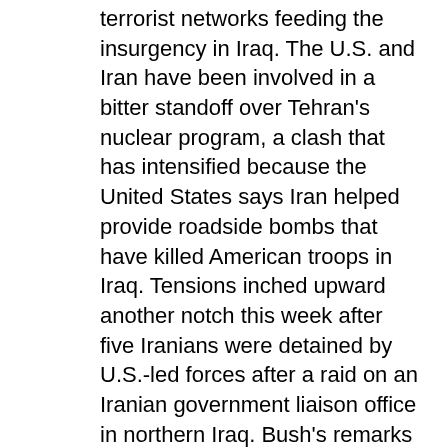terrorist networks feeding the insurgency in Iraq. The U.S. and Iran have been involved in a bitter standoff over Tehran's nuclear program, a clash that has intensified because the United States says Iran helped provide roadside bombs that have killed American troops in Iraq. Tensions inched upward another notch this week after five Iranians were detained by U.S.-led forces after a raid on an Iranian government liaison office in northern Iraq. Bush's remarks Wednesday in a prime-time speech announcing his plan to boost U.S. forces in Iraq, prompted questions from members of Congress about whether the U.S. is considering attacks on Iranian territory. Bush administration officials have long refused to rule out any options against Iran but said military action would be a last resort. On Friday, Defense Secretary Robert Gates and Gen. Peter Pace, chairman of the Joint Chiefs of Staff, told the Senate Armed Services Committee that while U.S. forces are trying to prevent Iran and Syria from disrupting U.S. forces in Iraq, there were no immediate plans for an attack. "We believe that we can interrupt these networks